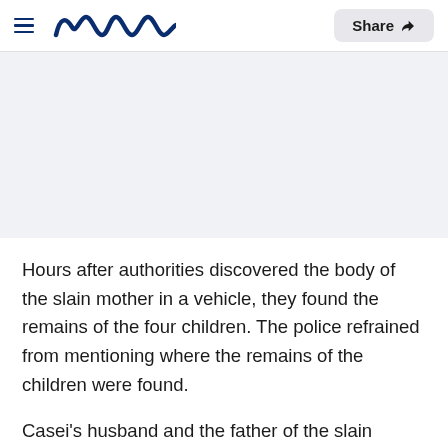Meaww — Share
[Figure (other): Gray placeholder/ad banner area]
Hours after authorities discovered the body of the slain mother in a vehicle, they found the remains of the four children. The police refrained from mentioning where the remains of the children were found.
Casei's husband and the father of the slain children, Michael Jones, is the lead suspect in the case. Marion County Sheriff Billy Woods described Michael as "evil" who